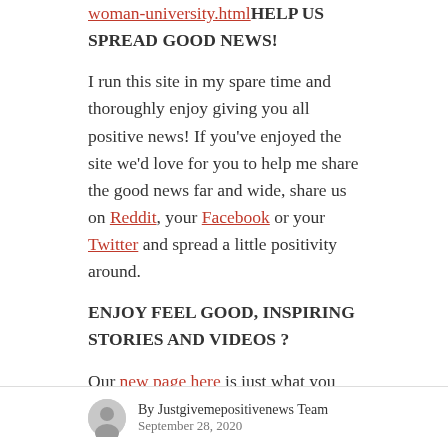woman-university.htmlHELP US SPREAD GOOD NEWS!
I run this site in my spare time and thoroughly enjoy giving you all positive news!  If you've enjoyed the site we'd love for you to help me share the good news far and wide, share us on Reddit, your Facebook or your Twitter and spread a little positivity around.
ENJOY FEEL GOOD, INSPIRING STORIES AND VIDEOS ?
Our new page here is just what you need, with
By Justgivemepositivenews Team
September 28, 2020